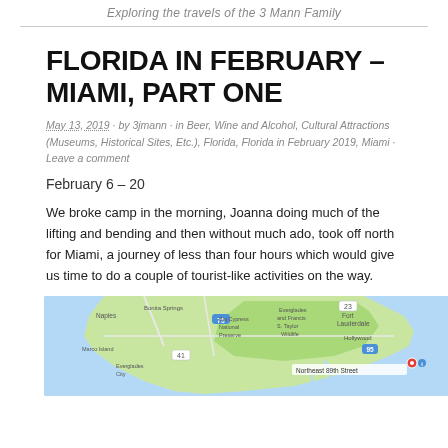Exploring the travels of the 3 Mann Family
FLORIDA IN FEBRUARY – MIAMI, PART ONE
May 13, 2019 · by 3jmann · in Beer, Wine and Alcohol, Cultural Attractions (Museums, Historical Sites, Etc.), Florida, Florida in February 2019, Miami · Leave a comment
February 6 – 20
We broke camp in the morning, Joanna doing much of the lifting and bending and then without much ado, took off north for Miami, a journey of less than four hours which would give us time to do a couple of tourist-like activities on the way.
[Figure (map): Google Maps view showing southern Florida including Big Cypress National Preserve, Everglades, Fort Lauderdale, Hollywood, Naples, Marco Island, and a red location pin near Northeast 89th Street in Miami.]